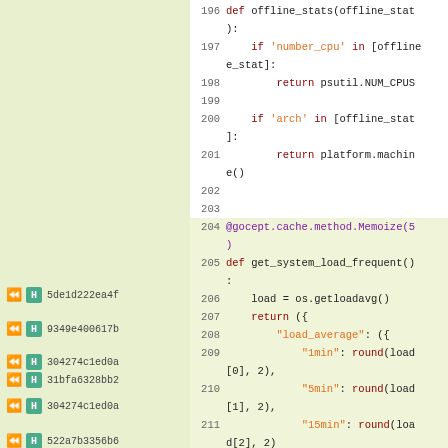[Figure (screenshot): Code viewer showing Python source lines 196-212 with annotation badges on the left panel and syntax-highlighted code on the right.]